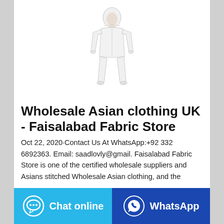[Figure (photo): A person wearing a white full-body protective coverall suit with hood, viewed from the front against a white background.]
Wholesale Asian clothing UK - Faisalabad Fabric Store
Oct 22, 2020·Contact Us At WhatsApp:+92 332 6892363. Email: saadlovly@gmail. Faisalabad Fabric Store is one of the certified wholesale suppliers and Asians stitched Wholesale Asian clothing, and the